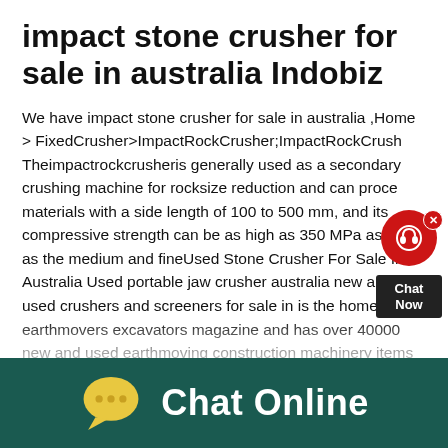impact stone crusher for sale in australia Indobiz
We have impact stone crusher for sale in australia ,Home > FixedCrusher>ImpactRockCrusher;ImpactRockCrusher Theimpactrockcrusheris generally used as a secondary crushing machine for rocksize reduction and can process materials with a side length of 100 to 500 mm, and its compressive strength can be as high as 350 MPa as well as the medium and fineUsed Stone Crusher For Sale In Australia Used portable jaw crusher australia new and used crushers and screeners for sale in is the home of earthmovers excavators magazine and has over 40000 new and used earthmoving construction machinery items for sale across a wide range of categories including
[Figure (other): Chat Now widget: red circle with headset icon and X close button, dark background label reading Chat Now]
[Figure (other): Dark teal bottom bar with yellow chat bubble icon (three dots) and white bold text Chat Online]